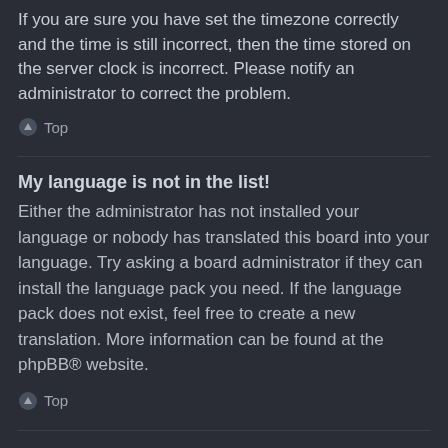If you are sure you have set the timezone correctly and the time is still incorrect, then the time stored on the server clock is incorrect. Please notify an administrator to correct the problem.
⬆ Top
My language is not in the list!
Either the administrator has not installed your language or nobody has translated this board into your language. Try asking a board administrator if they can install the language pack you need. If the language pack does not exist, feel free to create a new translation. More information can be found at the phpBB® website.
⬆ Top
What are the images next to my username?
There are two images which may appear along with a username when viewing posts. One of them may be an image associated with your rank, generally in the form of stars, blocks or dots, indicating how many posts you have